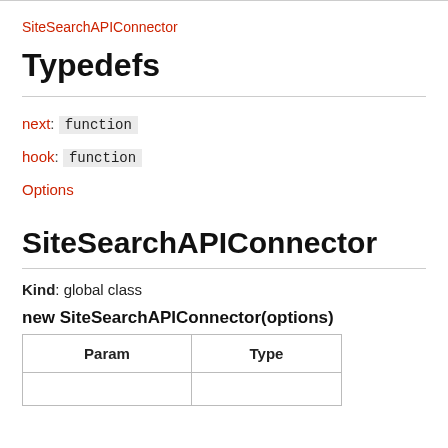SiteSearchAPIConnector
Typedefs
next: function
hook: function
Options
SiteSearchAPIConnector
Kind: global class
new SiteSearchAPIConnector(options)
| Param | Type |
| --- | --- |
|  |  |